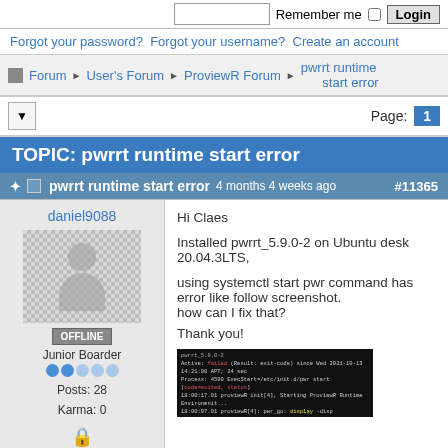Remember me  Login
Forgot your password? Forgot your username? Create an account
Forum ▶ User's Forum ▶ ProviewR Forum ▶ pwrrt runtime start error
Page: 1
TOPIC: pwrrt runtime start error
pwrrt runtime start error  4 months 4 weeks ago  #11365
daniel9088
[Figure (photo): Default user avatar placeholder]
OFFLINE
Junior Boarder
Posts: 28
Karma: 0
Hi Claes

Installed pwrrt_5.9.0-2 on Ubuntu desktop 20.04.3LTS,

using systemctl start pwr command has error like follow screenshot.
how can I fix that?

Thank you!
[Figure (screenshot): Terminal screenshot showing systemctl start pwr error output on dark background]